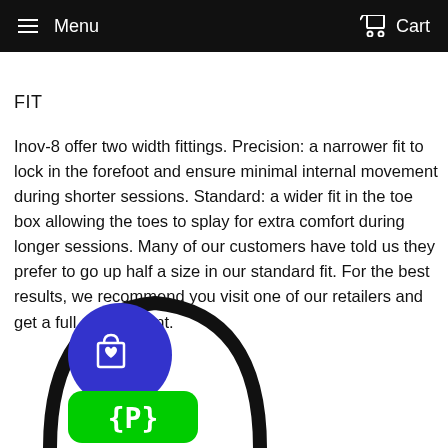Menu   Cart
FIT
Inov-8 offer two width fittings. Precision: a narrower fit to lock in the forefoot and ensure minimal internal movement during shorter sessions. Standard: a wider fit in the toe box allowing the toes to splay for extra comfort during longer sessions. Many of our customers have told us they prefer to go up half a size in our standard fit. For the best results, we recommend you visit one of our retailers and get a full assessment.
[Figure (illustration): Partial illustration of a shoe/logo with a blue circle containing a shopping bag with heart icon and a green rounded rectangle with curly brace P symbol]